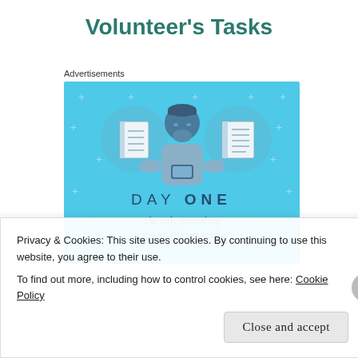Volunteer's Tasks
Advertisements
[Figure (illustration): DAY ONE app advertisement banner. Blue background with illustration of a person holding a phone, flanked by notebook icons in circles. Text reads 'DAY ONE – The only journaling app you'll ever need.']
Privacy & Cookies: This site uses cookies. By continuing to use this website, you agree to their use.
To find out more, including how to control cookies, see here: Cookie Policy
Close and accept